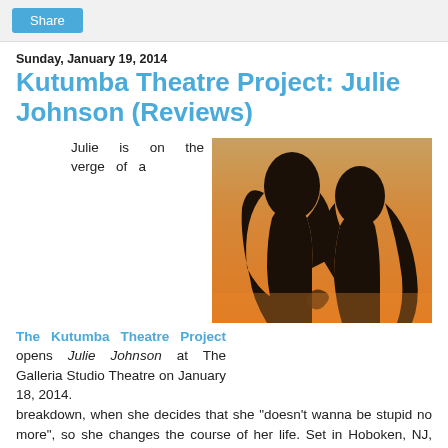Share
Sunday, January 19, 2014
Kutumba Theatre Project: Julie Johnson (Reviews)
The Kutumba Theatre Project opens Julie Johnson at The Galleria Studio Theatre on January 18, 2014.
[Figure (photo): Silhouettes of two women with long hair against an orange/warm sunset background, viewed from behind.]
Julie is on the verge of a breakdown, when she decides that she "doesn't wanna be stupid no more", so she changes the course of her life. Set in Hoboken, NJ, Julie takes courageous steps to improve her mind by going back to school and journeys toward a new and exciting life. Julie and her best friend, Claire,